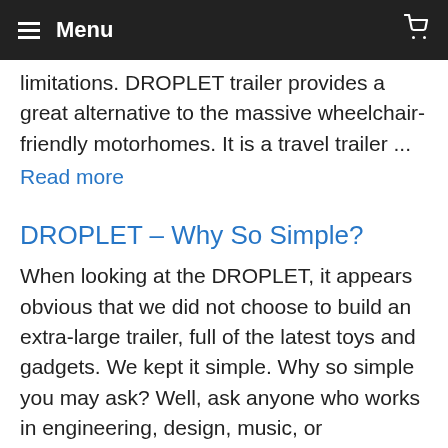≡ Menu
limitations. DROPLET trailer provides a great alternative to the massive wheelchair-friendly motorhomes. It is a travel trailer ...
Read more
DROPLET – Why So Simple?
When looking at the DROPLET, it appears obvious that we did not choose to build an extra-large trailer, full of the latest toys and gadgets. We kept it simple. Why so simple you may ask? Well, ask anyone who works in engineering, design, music, or architecture and they will tell you that there is nothing ...
Read more